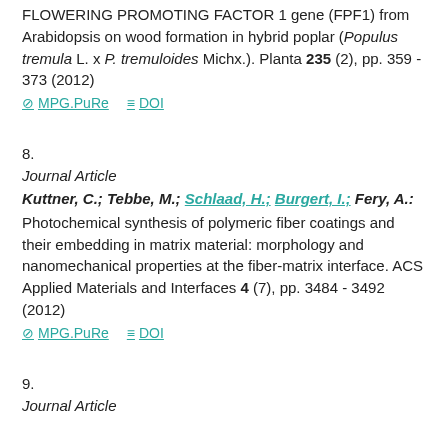FLOWERING PROMOTING FACTOR 1 gene (FPF1) from Arabidopsis on wood formation in hybrid poplar (Populus tremula L. x P. tremuloides Michx.). Planta 235 (2), pp. 359 - 373 (2012)
⊘ MPG.PuRe   ≡ DOI
8.
Journal Article
Kuttner, C.; Tebbe, M.; Schlaad, H.; Burgert, I.; Fery, A.: Photochemical synthesis of polymeric fiber coatings and their embedding in matrix material: morphology and nanomechanical properties at the fiber-matrix interface. ACS Applied Materials and Interfaces 4 (7), pp. 3484 - 3492 (2012)
⊘ MPG.PuRe   ≡ DOI
9.
Journal Article